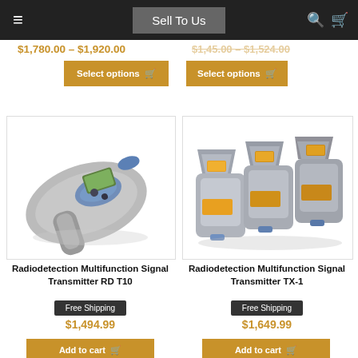Sell To Us
$1,780.00 – $1,920.00
Select options
Select options
[Figure (photo): Radiodetection Multifunction Signal Transmitter RD T10 device, a handheld grey and blue instrument]
Radiodetection Multifunction Signal Transmitter RD T10
Free Shipping
$1,494.99
[Figure (photo): Radiodetection Multifunction Signal Transmitter TX-1, three grey and blue transmitter units shown together]
Radiodetection Multifunction Signal Transmitter TX-1
Free Shipping
$1,649.99